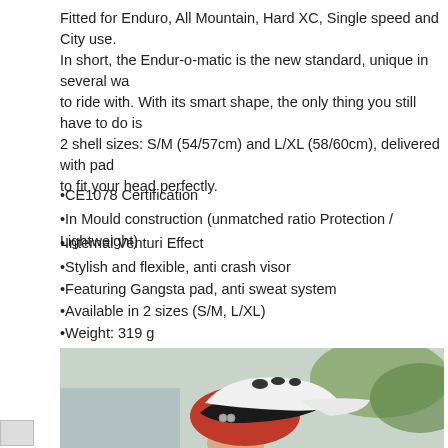Fitted for Enduro, All Mountain, Hard XC, Single speed and City use.
In short, the Endur-o-matic is the new standard, unique in several ways, to ride with. With its smart shape, the only thing you still have to do is 2 shell sizes: S/M (54/57cm) and L/XL (58/60cm), delivered with pad to fit your head perfectly.
•CE1078 Certification
•In Mould construction (unmatched ratio Protection / Lightweight)
•Internal Venturi Effect
•Stylish and flexible, anti crash visor
•Featuring Gangsta pad, anti sweat system
•Available in 2 sizes (S/M, L/XL)
•Weight: 319 g
[Figure (photo): Person wearing a white, black, and red mountain bike helmet with visor, photographed from the side against a blurred outdoor background.]